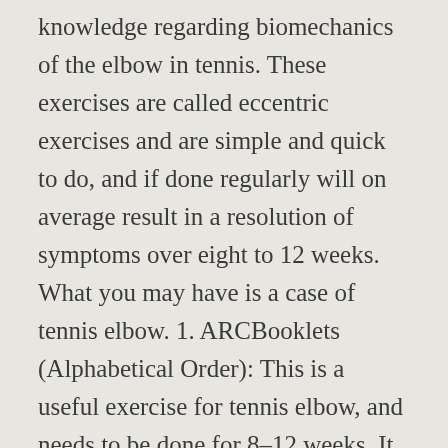knowledge regarding biomechanics of the elbow in tennis. These exercises are called eccentric exercises and are simple and quick to do, and if done regularly will on average result in a resolution of symptoms over eight to 12 weeks. What you may have is a case of tennis elbow. 1. ARCBooklets (Alphabetical Order): This is a useful exercise for tennis elbow, and needs to be done for 8–12 weeks. It is caused by a strain to the tendons in the forearm. Hold for . Developed by Versus Arthritis and the Chartered Society of Physiotherapy, these free resources offer exercise and advice to help combat common pains and conditions such as tennis elbow and carpal tunnel syndrome.